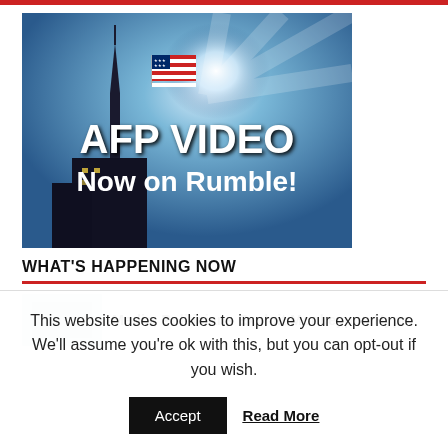[Figure (illustration): AFP VIDEO Now on Rumble! — promotional image showing American flag on a tower with blue sky and city silhouette. White bold text reads 'AFP VIDEO Now on Rumble!']
WHAT'S HAPPENING NOW
[Figure (photo): Small thumbnail image for article about Media, Politicians Exploit Monkeypox Hype]
Media, Politicians Exploit Monkeypox Hype
This website uses cookies to improve your experience. We'll assume you're ok with this, but you can opt-out if you wish.
Accept
Read More